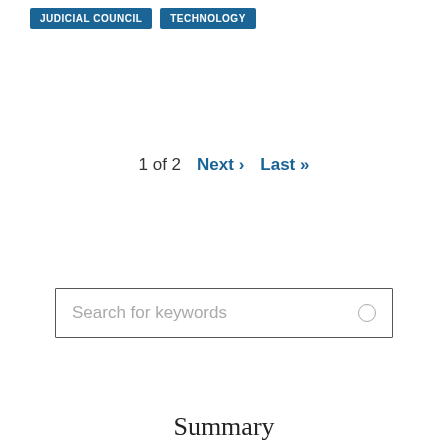JUDICIAL COUNCIL   TECHNOLOGY
1 of 2   Next ›   Last »
Search for keywords
Summary